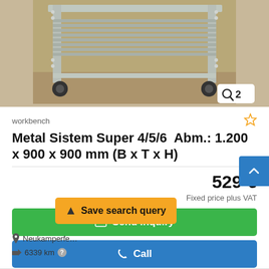[Figure (photo): Photo of a metal workbench/trolley with casters on warehouse floor. Image badge shows magnifying glass icon and number 2.]
workbench
Metal Sistem Super 4/5/6  Abm.: 1.200 x 900 x 900 mm (B x T x H)
529 €
Fixed price plus VAT
✉ Send inquiry
✆ Call
Neukamperfe…
6339 km
➤ Save search query